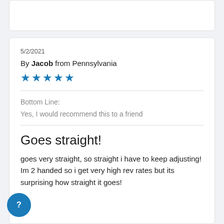5/2/2021
By Jacob from Pennsylvania
★★★★★
Bottom Line:
Yes, I would recommend this to a friend
Goes straight!
goes very straight, so straight i have to keep adjusting! Im 2 handed so i get very high rev rates but its surprising how straight it goes!